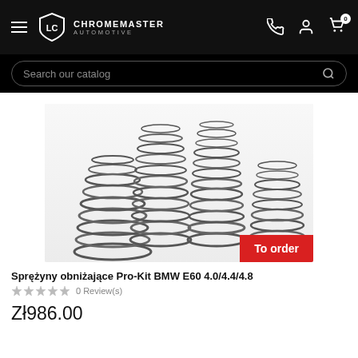CHROMEMASTER AUTOMOTIVE
Search our catalog
[Figure (photo): Four automotive lowering springs (Pro-Kit coil springs) arranged by height on a white background, with a red 'To order' badge in the bottom right corner.]
Sprężyny obniżające Pro-Kit BMW E60 4.0/4.4/4.8
0 Review(s)
Zł986.00